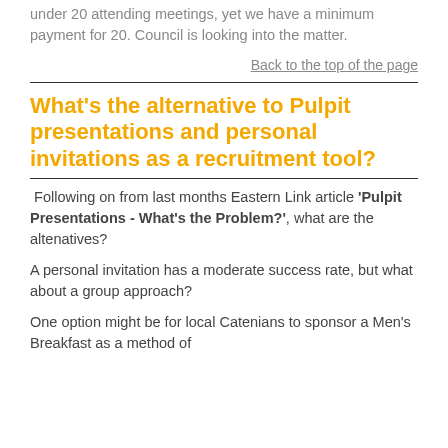under 20 attending meetings, yet we have a minimum payment for 20. Council is looking into the matter.
Back to the top of the page
What's the alternative to Pulpit presentations and personal invitations as a recruitment tool?
Following on from last months Eastern Link article 'Pulpit Presentations - What's the Problem?', what are the altenatives?
A personal invitation has a moderate success rate, but what about a group approach?
One option might be for local Catenians to sponsor a Men's Breakfast as a method of